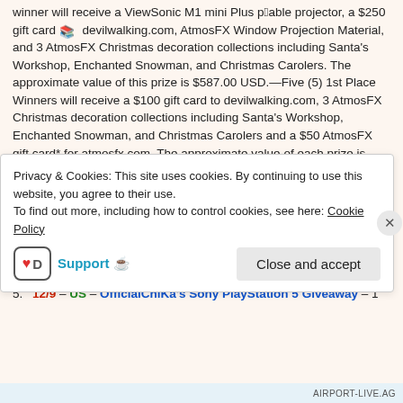winner will receive a ViewSonic M1 mini Plus portable projector, a $250 gift card to devilwalking.com, AtmosFX Window Projection Material, and 3 AtmosFX Christmas decoration collections including Santa's Workshop, Enchanted Snowman, and Christmas Carolers. The approximate value of this prize is $587.00 USD.—Five (5) 1st Place Winners will receive a $100 gift card to devilwalking.com, 3 AtmosFX Christmas decoration collections including Santa's Workshop, Enchanted Snowman, and Christmas Carolers and a $50 AtmosFX gift card* for atmosfx.com. The approximate value of each prize is $257.00 USD.
3. 12/8 – US – Jolly Good Time Vegan Holiday Giveaway – Enter for a chance to win our vegan giveaway box featuring coffee, candies, chocolates, and more!
4. 12/8 – WW – 25 DoG Day 1: Win a Nectar Mattress – 1 winner(s) will receive 25 DoG Day 1: Win a Nectar Mattress
5. 12/9 – US – OfficialChiKa's Sony PlayStation 5 Giveaway – 1
Privacy & Cookies: This site uses cookies. By continuing to use this website, you agree to their use. To find out more, including how to control cookies, see here: Cookie Policy
Support 🍵   Close and accept